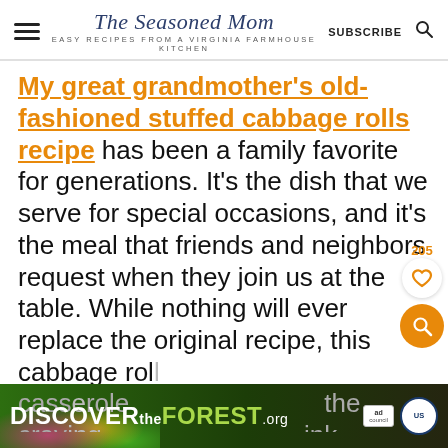The Seasoned Mom — EASY RECIPES FROM A VIRGINIA FARMHOUSE KITCHEN | SUBSCRIBE
My great grandmother's old-fashioned stuffed cabbage rolls recipe has been a family favorite for generations. It's the dish that we serve for special occasions, and it's the meal that friends and neighbors request when they join us at the table. While nothing will ever replace the original recipe, this cabbage rolls casserole... the crav... ink
[Figure (infographic): DiscovertheForest.org ad banner with Ad Council and USDA Forest Service badges]